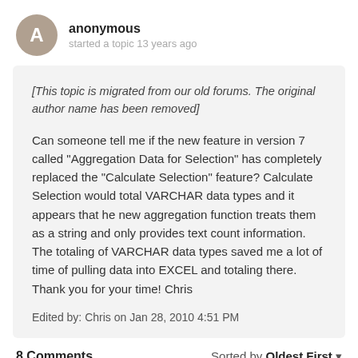anonymous
started a topic 13 years ago
[This topic is migrated from our old forums. The original author name has been removed]
Can someone tell me if the new feature in version 7 called "Aggregation Data for Selection" has completely replaced the "Calculate Selection" feature?  Calculate Selection would total VARCHAR data types and it appears that he new aggregation function treats them as a string and only provides text count information.  The totaling of VARCHAR data types saved me a lot of time of pulling data into EXCEL and totaling there.  Thank you for your time! Chris
Edited by: Chris on Jan 28, 2010 4:51 PM
8 Comments
Sorted by Oldest First